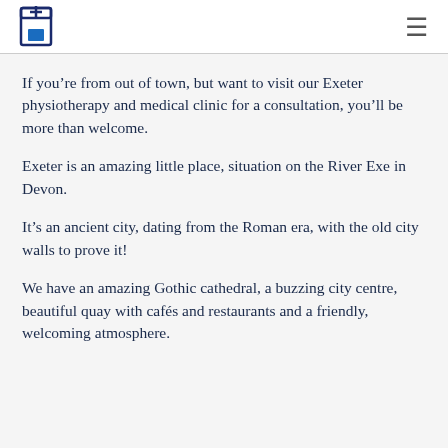Medical clinic logo and navigation
If you’re from out of town, but want to visit our Exeter physiotherapy and medical clinic for a consultation, you’ll be more than welcome.
Exeter is an amazing little place, situation on the River Exe in Devon.
It’s an ancient city, dating from the Roman era, with the old city walls to prove it!
We have an amazing Gothic cathedral, a buzzing city centre, beautiful quay with cafés and restaurants and a friendly, welcoming atmosphere.